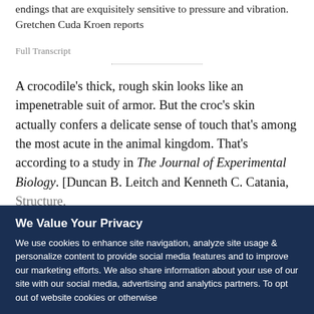endings that are exquisitely sensitive to pressure and vibration. Gretchen Cuda Kroen reports
Full Transcript
A crocodile's thick, rough skin looks like an impenetrable suit of armor. But the croc's skin actually confers a delicate sense of touch that's among the most acute in the animal kingdom. That's according to a study in The Journal of Experimental Biology. [Duncan B. Leitch and Kenneth C. Catania, Structure,
We Value Your Privacy
We use cookies to enhance site navigation, analyze site usage & personalize content to provide social media features and to improve our marketing efforts. We also share information about your use of our site with our social media, advertising and analytics partners. To opt out of website cookies or otherwise